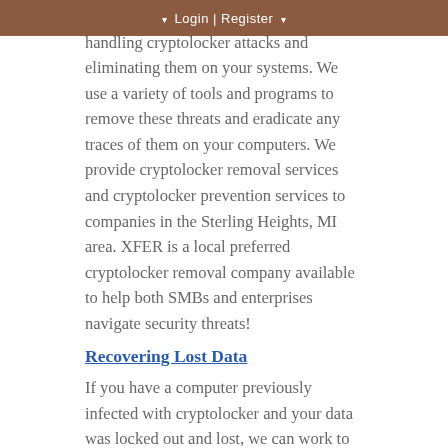Login | Register
services. We kn... handling cryptolocker attacks and eliminating them on your systems. We use a variety of tools and programs to remove these threats and eradicate any traces of them on your computers. We provide cryptolocker removal services and cryptolocker prevention services to companies in the Sterling Heights, MI area. XFER is a local preferred cryptolocker removal company available to help both SMBs and enterprises navigate security threats!
Recovering Lost Data
If you have a computer previously infected with cryptolocker and your data was locked out and lost, we can work to recover it. We offer file restoration for data that was lost through cryptolocker attacks.